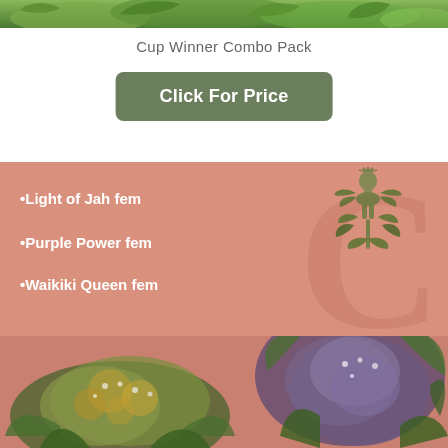[Figure (photo): Cannabis plant photo cropped at top, showing green leaves and buds]
Cup Winner Combo Pack
Click For Price
[Figure (infographic): Salmon/pink background banner with brand logo (green cannabis plant figure with circular icon) and bullet list: Light of Jah fem, Purple Power fem, Waikiki Queen fem]
•Light of Jah fem
•Purple Power fem
•Waikiki Queen fem
[Figure (photo): Close-up photos of cannabis flowers/buds on salmon-pink background, showing two different strains side by side]